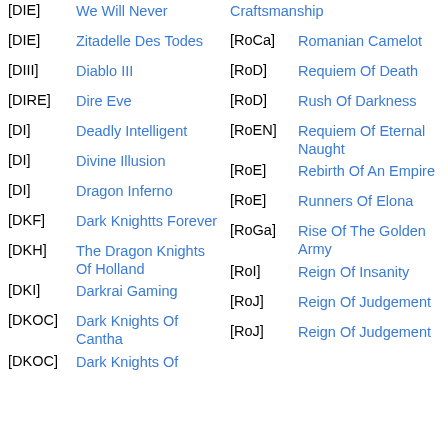[DIE] We Will Never
[DIE] Zitadelle Des Todes
[DIII] Diablo III
[DIRE] Dire Eve
[DI] Deadly Intelligent
[DI] Divine Illusion
[DI] Dragon Inferno
[DKF] Dark Knightts Forever
[DKH] The Dragon Knights Of Holland
[DKI] Darkrai Gaming
[DKOC] Dark Knights Of Cantha
[DKOC] Dark Knights Of
[RoC] Craftsmanship
[RoCa] Romanian Camelot
[RoD] Requiem Of Death
[RoD] Rush Of Darkness
[RoEN] Requiem Of Eternal Naught
[RoE] Rebirth Of An Empire
[RoE] Runners Of Elona
[RoGa] Rise Of The Golden Army
[RoI] Reign Of Insanity
[RoJ] Reign Of Judgement
[RoJ] Reign Of Judgement